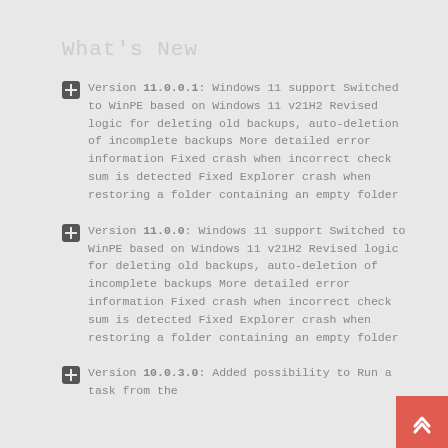What's New
Version 11.0.0.1: Windows 11 support Switched to WinPE based on Windows 11 v21H2 Revised logic for deleting old backups, auto-deletion of incomplete backups More detailed error information Fixed crash when incorrect check sum is detected Fixed Explorer crash when restoring a folder containing an empty folder
Version 11.0.0: Windows 11 support Switched to WinPE based on Windows 11 v21H2 Revised logic for deleting old backups, auto-deletion of incomplete backups More detailed error information Fixed crash when incorrect check sum is detected Fixed Explorer crash when restoring a folder containing an empty folder
Version 10.0.3.0: Added possibility to Run a task from the